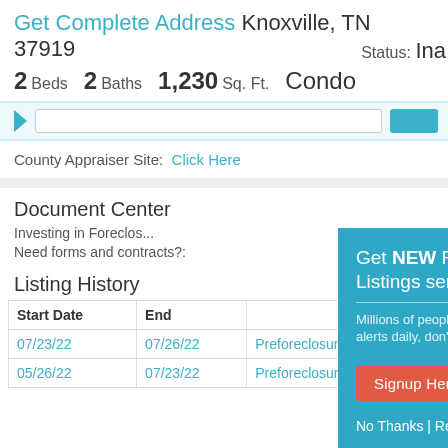Get Complete Address Knoxville, TN 37919
2 Beds  2 Baths  1,230 Sq. Ft.  Condo  Status: Ina...
[Figure (screenshot): Navigation bar with search input and blue button]
County Appraiser Site:  Click Here
Document Center
Investing in Foreclos...
Need forms and contracts?:
Listing History
| Start Date | End... |  |  |
| --- | --- | --- | --- |
| 07/23/22 | 07/26/22 | Preforeclosure |  |
| 05/26/22 | 07/23/22 | Preforeclosure |  |
[Figure (screenshot): Popup overlay: Get NEW Foreclosure Listings sent to your inbox. Millions of people receive foreclosure alerts daily, don't miss out. Signup Here button. No Thanks | Remind Me Later]